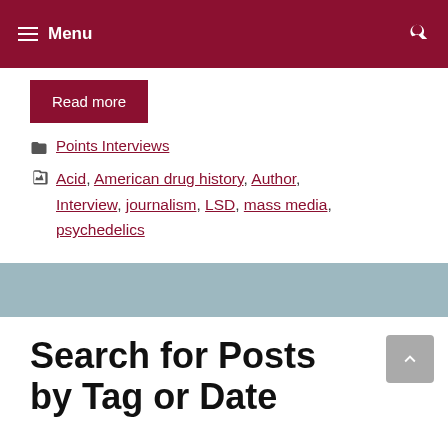Menu
Read more
Points Interviews
Acid, American drug history, Author, Interview, journalism, LSD, mass media, psychedelics
Search for Posts by Tag or Date